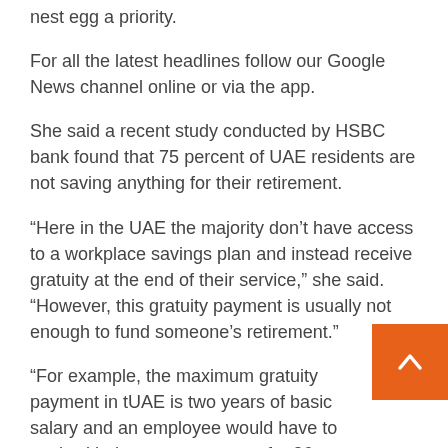nest egg a priority.
For all the latest headlines follow our Google News channel online or via the app.
She said a recent study conducted by HSBC bank found that 75 percent of UAE residents are not saving anything for their retirement.
“Here in the UAE the majority don’t have access to a workplace savings plan and instead receive gratuity at the end of their service,” she said. “However, this gratuity payment is usually not enough to fund someone’s retirement.”
“For example, the maximum gratuity payment in the UAE is two years of basic salary and an employee would have to work with the same company for 26 years to receive the maximum amount,” she explained